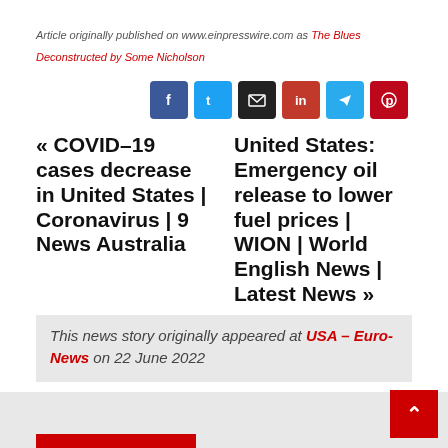Article originally published on www.einpresswire.com as The Blues
Deconstructed by Some Nicholson
[Figure (other): Social sharing icons: Facebook, Twitter, Email, LinkedIn, Telegram, Pinterest]
« COVID-19 cases decrease in United States | Coronavirus | 9 News Australia
United States: Emergency oil release to lower fuel prices | WION | World English News | Latest News »
This news story originally appeared at USA – Euro-News on 22 June 2022